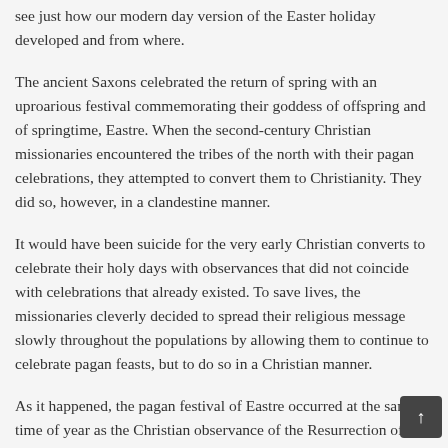see just how our modern day version of the Easter holiday developed and from where.
The ancient Saxons celebrated the return of spring with an uproarious festival commemorating their goddess of offspring and of springtime, Eastre. When the second-century Christian missionaries encountered the tribes of the north with their pagan celebrations, they attempted to convert them to Christianity. They did so, however, in a clandestine manner.
It would have been suicide for the very early Christian converts to celebrate their holy days with observances that did not coincide with celebrations that already existed. To save lives, the missionaries cleverly decided to spread their religious message slowly throughout the populations by allowing them to continue to celebrate pagan feasts, but to do so in a Christian manner.
As it happened, the pagan festival of Eastre occurred at the same time of year as the Christian observance of the Resurrection of Christ. It made sense...